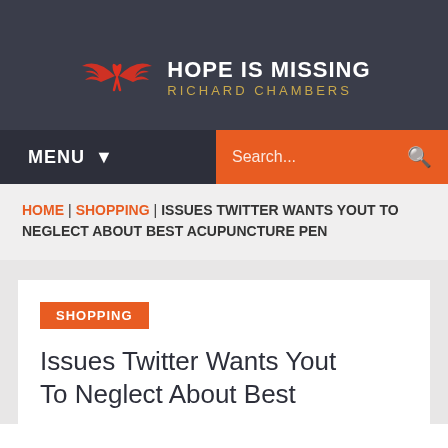[Figure (logo): Hope Is Missing logo with red ribbon and wings icon, white bold text HOPE IS MISSING, gold subtitle RICHARD CHAMBERS on dark background]
MENU | Search...
HOME | SHOPPING | ISSUES TWITTER WANTS YOUT TO NEGLECT ABOUT BEST ACUPUNCTURE PEN
SHOPPING
Issues Twitter Wants Yout To Neglect About Best Acupuncture Pen